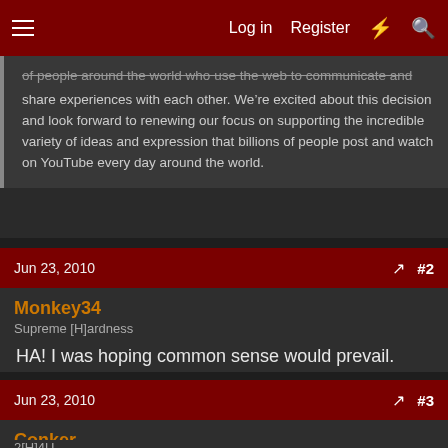Log in  Register  #  (search)
of people around the world who use the web to communicate and share experiences with each other. We’re excited about this decision and look forward to renewing our focus on supporting the incredible variety of ideas and expression that billions of people post and watch on YouTube every day around the world.
Jun 23, 2010  #2
Monkey34
Supreme [H]ardness
HA! I was hoping common sense would prevail.
Jun 23, 2010  #3
Conker
2[H]4U